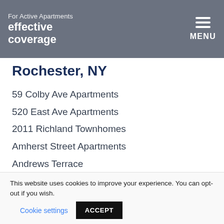Effective Coverage — For Active Apartments | Rochester, NY — MENU
Rochester, NY
59 Colby Ave Apartments
520 East Ave Apartments
2011 Richland Townhomes
Amherst Street Apartments
Andrews Terrace
Arnold Court
Auburn Creek Apartments
Avon Commons
This website uses cookies to improve your experience. You can opt-out if you wish. Cookie settings ACCEPT